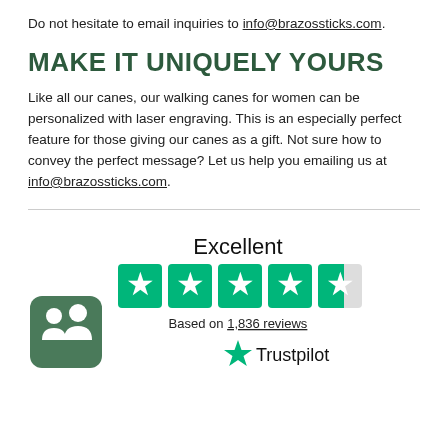Do not hesitate to email inquiries to info@brazossticks.com.
MAKE IT UNIQUELY YOURS
Like all our canes, our walking canes for women can be personalized with laser engraving. This is an especially perfect feature for those giving our canes as a gift. Not sure how to convey the perfect message? Let us help you emailing us at info@brazossticks.com.
[Figure (infographic): Trustpilot widget showing 'Excellent' rating with 4.5 green stars, 'Based on 1,836 reviews', Trustpilot logo, and Trustpilot app icon on the left.]